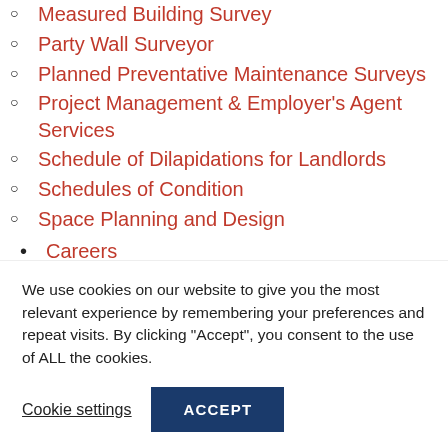Measured Building Survey
Party Wall Surveyor
Planned Preventative Maintenance Surveys
Project Management & Employer's Agent Services
Schedule of Dilapidations for Landlords
Schedules of Condition
Space Planning and Design
Careers
Commercial Property Management
Commercial Property Surveyor
Commercial Property Investment
We use cookies on our website to give you the most relevant experience by remembering your preferences and repeat visits. By clicking “Accept”, you consent to the use of ALL the cookies.
Cookie settings | ACCEPT